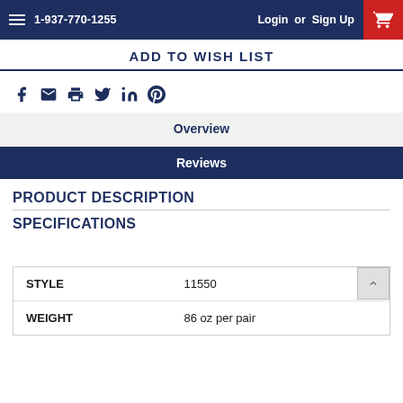1-937-770-1255  Login or Sign Up
ADD TO WISH LIST
[Figure (other): Social media share icons: Facebook, email, print, Twitter, LinkedIn, Pinterest]
Overview
Reviews
PRODUCT DESCRIPTION
SPECIFICATIONS
| STYLE | 11550 |
| WEIGHT | 86 oz per pair |